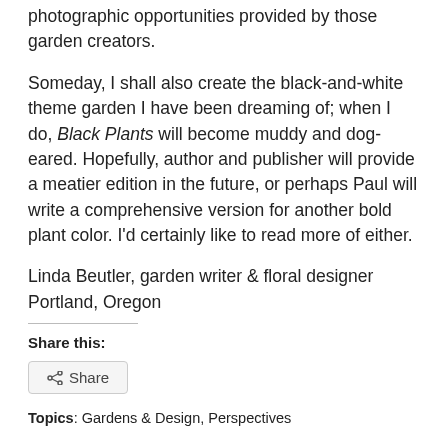photographic opportunities provided by those garden creators.
Someday, I shall also create the black-and-white theme garden I have been dreaming of; when I do, Black Plants will become muddy and dog-eared. Hopefully, author and publisher will provide a meatier edition in the future, or perhaps Paul will write a comprehensive version for another bold plant color. I'd certainly like to read more of either.
Linda Beutler, garden writer & floral designer
Portland, Oregon
Share this:
Share
Topics: Gardens & Design, Perspectives